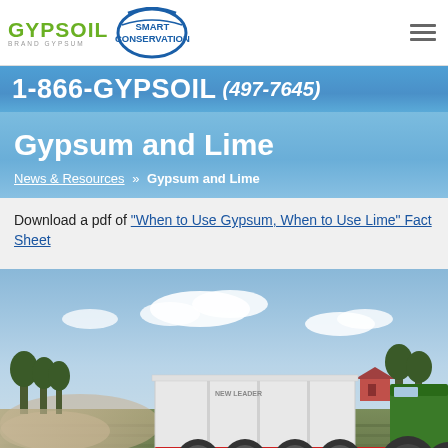GYPSOIL BRAND GYPSUM — Smart Conservation | 1-866-GYPSOIL (497-7645)
Gypsum and Lime
News & Resources » Gypsum and Lime
Download a pdf of "When to Use Gypsum, When to Use Lime" Fact Sheet
[Figure (photo): A white bulk spreader trailer pulled by a green tractor spreading material in a field, with farm buildings and trees in the background.]